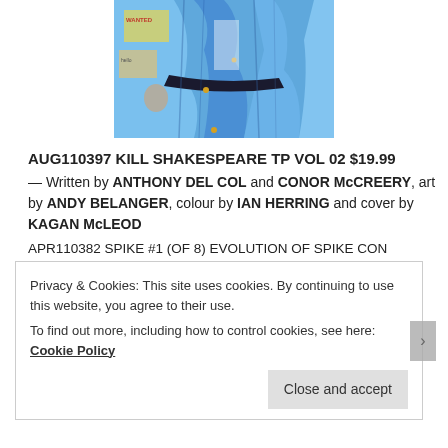[Figure (illustration): Book cover artwork showing a figure in flowing blue robes/coat against a collage background with signs and text visible]
AUG110397 KILL SHAKESPEARE TP VOL 02 $19.99 — Written by ANTHONY DEL COL and CONOR McCREERY, art by ANDY BELANGER, colour by IAN HERRING and cover by KAGAN McLEOD
APR110382 SPIKE #1 (OF 8) EVOLUTION OF SPIKE CON EXCLUSIVE PI
APR110384 STAR TREK KHAN RULING IN HELL #1 CON
Privacy & Cookies: This site uses cookies. By continuing to use this website, you agree to their use.
To find out more, including how to control cookies, see here: Cookie Policy
Close and accept